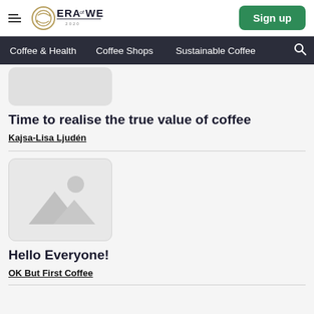ERA of WE — Sign up
Coffee & Health | Coffee Shops | Sustainable Coffee
[Figure (photo): Placeholder image (grey rectangle) for first article]
Time to realise the true value of coffee
Kajsa-Lisa Ljudén
[Figure (photo): Placeholder image with mountain/landscape icon for second article]
Hello Everyone!
OK But First Coffee